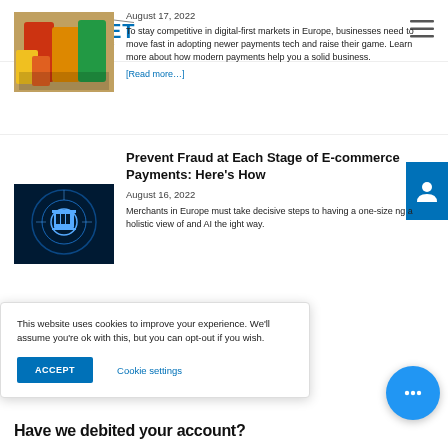[Figure (logo): Novalnet logo with tagline 'Empowering Payment']
August 17, 2022
To stay competitive in digital-first markets in Europe, businesses need to move fast in adopting newer payments tech and raise their game. Learn more about how modern payments help you a solid business.
[Read more…]
Prevent Fraud at Each Stage of E-commerce Payments: Here's How
August 16, 2022
Merchants in Europe must take decisive steps to having a one-size ng a holistic view of and AI the ight way.
This website uses cookies to improve your experience. We'll assume you're ok with this, but you can opt-out if you wish.
ACCEPT
Cookie settings
Have we debited your account?